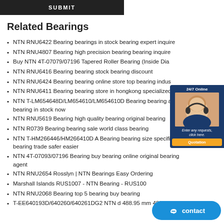SUBMIT
Related Bearings
NTN RNU6422 Bearing bearings in stock bearing expert inquire
NTN RNU4807 Bearing high precision bearing bearing inquire
Buy NTN 4T-07079/07196 Tapered Roller Bearing (Inside Dia
NTN RNU6416 Bearing bearing stock bearing discount
NTN RNU6424 Bearing bearing online store top bearing indus
NTN RNU6411 Bearing bearing store in hongkong specialized b
NTN T-LM654648D/LM654610/LM654610D Bearing bearing a bearing in stock now
NTN RNU5619 Bearing high quality bearing original bearing
NTN R0739 Bearing bearing sale world class bearing
NTN T-HM266446/HM266410D A Bearing bearing size specification bearing trade safer easier
NTN 4T-07093/07196 Bearing buy bearing online original bearing agent
NTN RNU2654 Rosslyn | NTN Bearings Easy Ordering
Marshall Islands RUS1007 - NTN Bearing - RUS100
NTN RNU2068 Bearing top 5 bearing buy bearing
T-EE640193D/640260/640261DG2 NTN d 488.95 mm 488.95x888.4